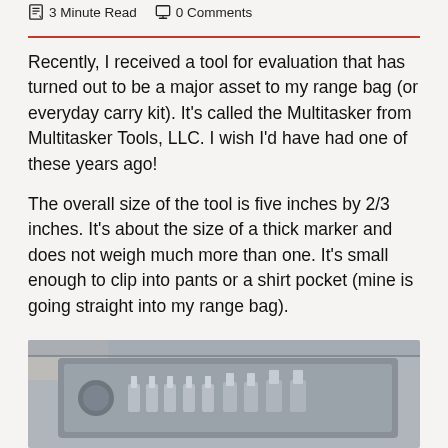3 Minute Read   0 Comments
Recently, I received a tool for evaluation that has turned out to be a major asset to my range bag (or everyday carry kit). It's called the Multitasker from Multitasker Tools, LLC. I wish I'd have had one of these years ago!
The overall size of the tool is five inches by 2/3 inches. It's about the size of a thick marker and does not weigh much more than one. It's small enough to clip into pants or a shirt pocket (mine is going straight into my range bag).
[Figure (photo): Open gray box containing a set of silver metal tool bits/attachments arranged in a row inside a fitted case, photographed on a light tile surface.]